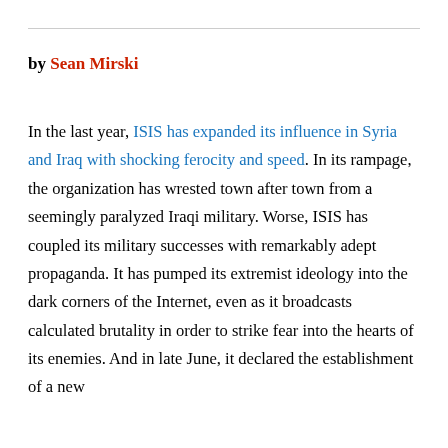by Sean Mirski
In the last year, ISIS has expanded its influence in Syria and Iraq with shocking ferocity and speed. In its rampage, the organization has wrested town after town from a seemingly paralyzed Iraqi military. Worse, ISIS has coupled its military successes with remarkably adept propaganda. It has pumped its extremist ideology into the dark corners of the Internet, even as it broadcasts calculated brutality in order to strike fear into the hearts of its enemies. And in late June, it declared the establishment of a new